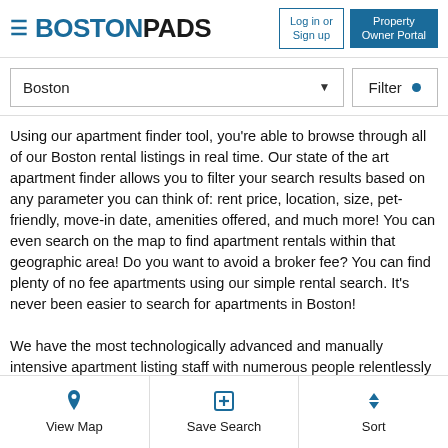BOSTONPADS — Log in or Sign up | Property Owner Portal
Boston (dropdown) | Filter
Using our apartment finder tool, you're able to browse through all of our Boston rental listings in real time. Our state of the art apartment finder allows you to filter your search results based on any parameter you can think of: rent price, location, size, pet-friendly, move-in date, amenities offered, and much more! You can even search on the map to find apartment rentals within that geographic area! Do you want to avoid a broker fee? You can find plenty of no fee apartments using our simple rental search. It's never been easier to search for apartments in Boston!

We have the most technologically advanced and manually intensive apartment listing staff with numerous people relentlessly updating
View Map | Save Search | Sort